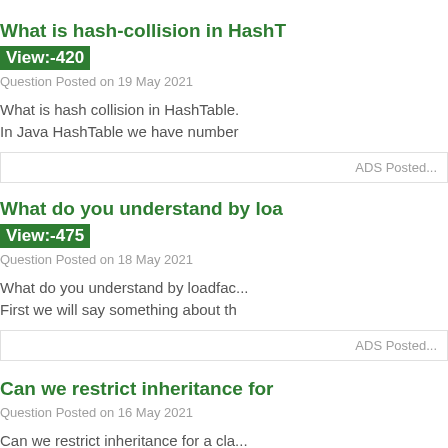What is hash-collision in HashT...
View:-420
Question Posted on 19 May 2021
What is hash collision in HashTable. In Java HashTable we have number...
ADS Posted...
What do you understand by loa...
View:-475
Question Posted on 18 May 2021
What do you understand by loadfac... First we will say something about th...
ADS Posted...
Can we restrict inheritance for...
Question Posted on 16 May 2021
Can we restrict inheritance for a cla... There are four things after that a...